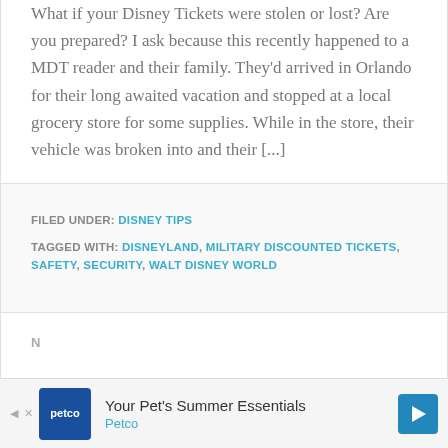What if your Disney Tickets were stolen or lost? Are you prepared? I ask because this recently happened to a MDT reader and their family. They'd arrived in Orlando for their long awaited vacation and stopped at a local grocery store for some supplies. While in the store, their vehicle was broken into and their [...]
FILED UNDER: DISNEY TIPS
TAGGED WITH: DISNEYLAND, MILITARY DISCOUNTED TICKETS, SAFETY, SECURITY, WALT DISNEY WORLD
N... P...
[Figure (other): Petco advertisement banner: Your Pet's Summer Essentials, Petco logo on blue background, navigation arrow icon]